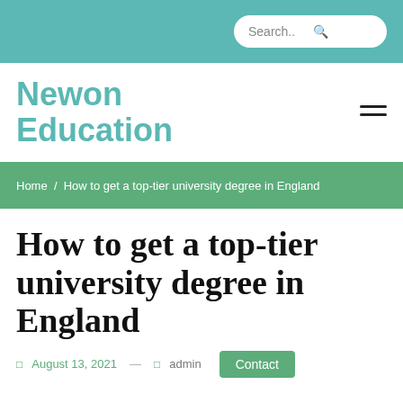Search..
Newon Education
Home / How to get a top-tier university degree in England
How to get a top-tier university degree in England
August 13, 2021 — admin Contact